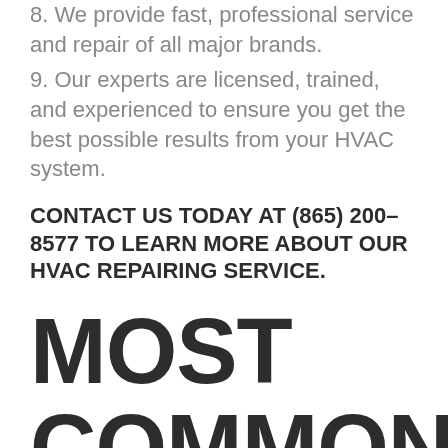8. We provide fast, professional service and repair of all major brands.
9. Our experts are licensed, trained, and experienced to ensure you get the best possible results from your HVAC system.
CONTACT US TODAY AT (865) 200-8577 TO LEARN MORE ABOUT OUR HVAC REPAIRING SERVICE.
MOST COMMON HVAC AND